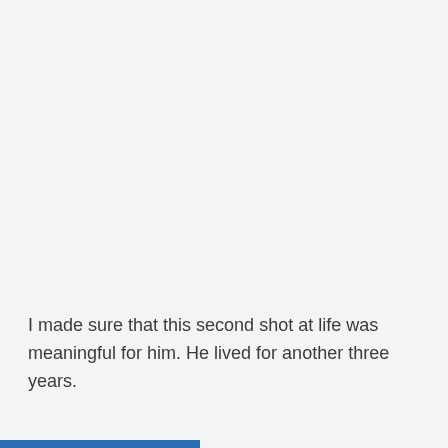I made sure that this second shot at life was meaningful for him. He lived for another three years.